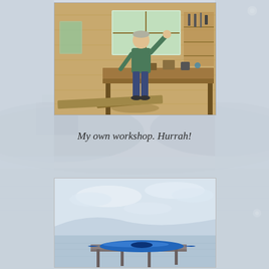[Figure (photo): Man standing in a wooden workshop interior, raising his fist in celebration. Wooden workbench in the foreground with tools and materials. Tools hanging on the wall behind. Pine-clad walls.]
My own workshop. Hurrah!
[Figure (photo): A blue kayak resting on a dock or jetty beside a calm lake or loch, under a pale sky with light clouds. Hills visible in the background.]